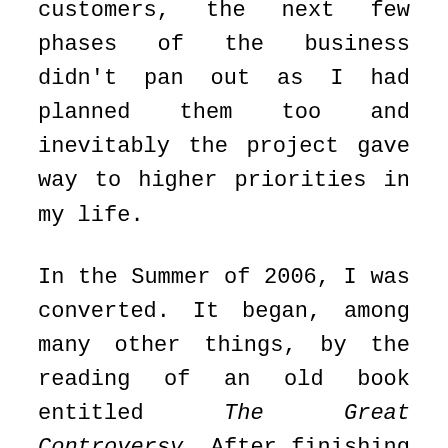customers, the next few phases of the business didn't pan out as I had planned them too and inevitably the project gave way to higher priorities in my life.
In the Summer of 2006, I was converted. It began, among many other things, by the reading of an old book entitled The Great Controversy. After finishing that book, I had a desire to begin taking up the study of the Bible. I'd “read” the Bible all my life, grasping at little bits here and there and generally reading it to satisfy the claims of a convicted conscious. But it wasn’t until the events that transpired during the Spring and Summer of 2006 that I truly began to take a genuine interest in the reading and understanding of God’s Word.